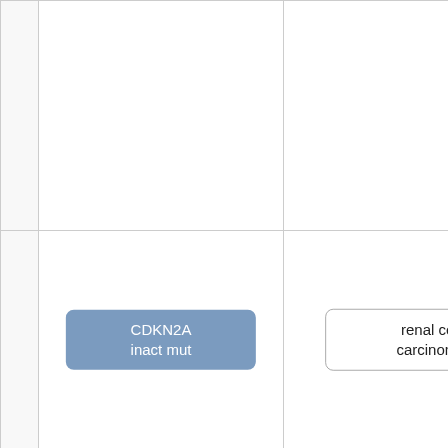|  |  |  |  |  |
| CDKN2A inact mut | renal cell carcinoma | not predictive | unspecified immune checkpoint inhibitor |  |